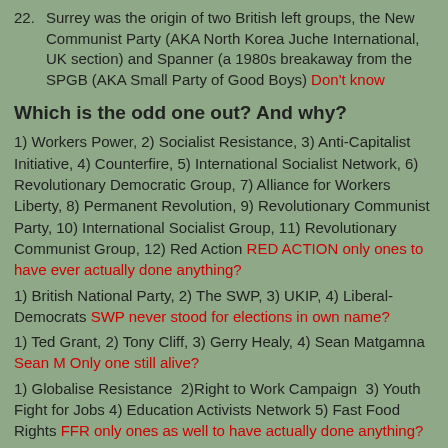22. Surrey was the origin of two British left groups, the New Communist Party (AKA North Korea Juche International, UK section) and Spanner (a 1980s breakaway from the SPGB (AKA Small Party of Good Boys) Don't know
Which is the odd one out? And why?
1) Workers Power, 2) Socialist Resistance, 3) Anti-Capitalist Initiative, 4) Counterfire, 5) International Socialist Network, 6) Revolutionary Democratic Group, 7) Alliance for Workers Liberty, 8) Permanent Revolution, 9) Revolutionary Communist Party, 10) International Socialist Group, 11) Revolutionary Communist Group, 12) Red Action RED ACTION only ones to have ever actually done anything?
1) British National Party, 2) The SWP, 3) UKIP, 4) Liberal-Democrats SWP never stood for elections in own name?
1) Ted Grant, 2) Tony Cliff, 3) Gerry Healy, 4) Sean Matgamna Sean M Only one still alive?
1) Globalise Resistance  2)Right to Work Campaign  3) Youth Fight for Jobs 4) Education Activists Network 5) Fast Food Rights FFR only ones as well to have actually done anything?
1) Costas  2) Starbucks  3) Firebox  4) Café Nero  5) Coffee